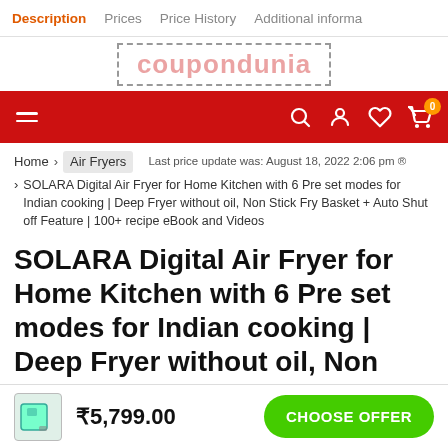Description  Prices  Price History  Additional informa
[Figure (logo): Coupondunia logo (watermark style) in dashed border box]
[Figure (screenshot): Red navigation bar with hamburger menu, search icon, user icon, wishlist icon, and cart with badge 0]
Home > Air Fryers  Last price update was: August 18, 2022 2:06 pm ® > SOLARA Digital Air Fryer for Home Kitchen with 6 Pre set modes for Indian cooking | Deep Fryer without oil, Non Stick Fry Basket + Auto Shut off Feature | 100+ recipe eBook and Videos
SOLARA Digital Air Fryer for Home Kitchen with 6 Pre set modes for Indian cooking | Deep Fryer without oil, Non Stick Fry Basket + Auto Shut off Feature | 100+ recipe eBook and Videos
₹5,799.00
CHOOSE OFFER